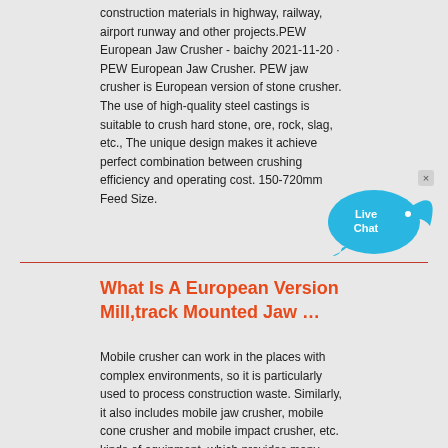construction materials in highway, railway, airport runway and other projects.PEW European Jaw Crusher - baichy 2021-11-20 · PEW European Jaw Crusher. PEW jaw crusher is European version of stone crusher. The use of high-quality steel castings is suitable to crush hard stone, ore, rock, slag, etc., The unique design makes it achieve perfect combination between crushing efficiency and operating cost. 150-720mm Feed Size.
[Figure (illustration): Live Chat button - a blue speech bubble with a fish/bird shape containing the words 'Live Chat', with a small 'x' close button in the top right corner]
What Is A European Version Mill,track Mounted Jaw …
Mobile crusher can work in the places with complex environments, so it is particularly used to process construction waste. Similarly, it also includes mobile jaw crusher, mobile cone crusher and mobile impact crusher, etc. kinds of equipment, which provides many choices for customers.Zhengzhou Jiemeilong Mining Machinery Co., Ltd.About Us. Zhengzhou Jiemeilong Mining Machinery Co., Ltd. is a professional crushing and screening equipment manufacturer